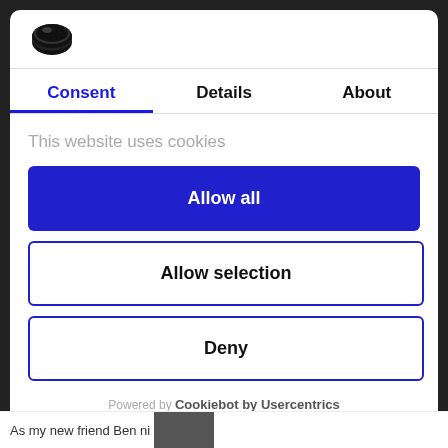[Figure (logo): Cookiebot shield/cookie logo icon in black]
Consent | Details | About
This website uses cookies
Allow all
Allow selection
Deny
Powered by Cookiebot by Usercentrics
As my new friend Ben ni